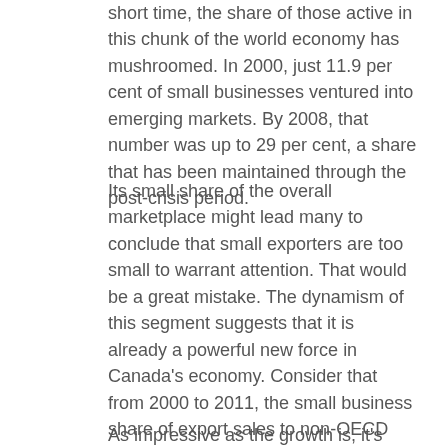short time, the share of those active in this chunk of the world economy has mushroomed. In 2000, just 11.9 per cent of small businesses ventured into emerging markets. By 2008, that number was up to 29 per cent, a share that has been maintained through the post-crisis period.
Its small share of the overall marketplace might lead many to conclude that small exporters are too small to warrant attention. That would be a great mistake. The dynamism of this segment suggests that it is already a powerful new force in Canada's economy. Consider that from 2000 to 2011, the small business share of export sales to non-OECD countries has more than tripled, to over 17 per cent. As a result, it's no surprise that over the same timeframe the estimated number of enterprises active in emerging markets has also tripled.
As impressive as the growth is, it's also clear that in